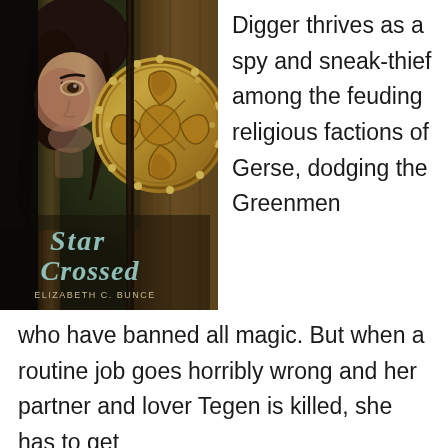[Figure (illustration): Book cover of 'Star Crossed' by Elizabeth C. Bunce. Shows a young woman with brown hair peeking from behind a wooden door or panel, with a large ornate golden medallion/shield visible on the right side. The title 'Star Crossed' and author name 'Elizabeth C. Bunce' appear at the bottom of the cover.]
Digger thrives as a spy and sneak-thief among the feuding religious factions of Gerse, dodging the Greenmen who have banned all magic. But when a routine job goes horribly wrong and her partner and lover Tegen is killed, she has to get